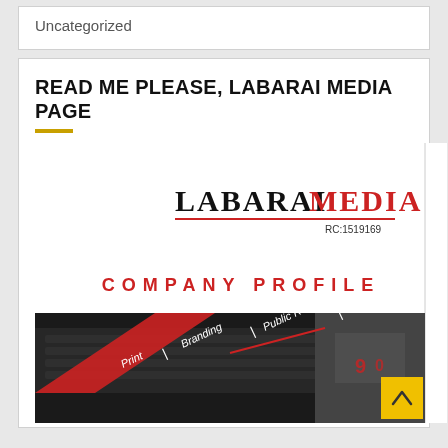Uncategorized
READ ME PLEASE, LABARAI MEDIA PAGE
[Figure (illustration): Labarai Media company profile cover page showing the logo 'LABARAI MEDIA RC:1519169' with a red underline, text 'COMPANY PROFILE' in red spaced letters, and diagonal text labels reading 'Print', 'Branding', 'Public Relations', 'Digital Marketing' over a background with a keyboard and city/street photography with red and dark accents. A yellow scroll-to-top button with an up arrow chevron is visible in the bottom right corner.]